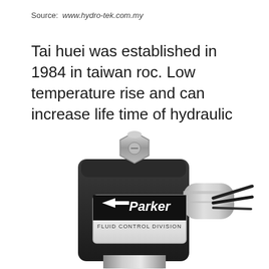Source: www.hydro-tek.com.my
Tai huei was established in 1984 in taiwan roc. Low temperature rise and can increase life time of hydraulic components.
[Figure (photo): Parker Fluid Control Division solenoid valve — a black square solenoid coil body with a metallic label reading 'Parker FLUID CONTROL DIVISION', a stainless steel hex bolt/nut on top, a cylindrical metallic body to the right with wires exiting, and a cylindrical silver valve body below.]